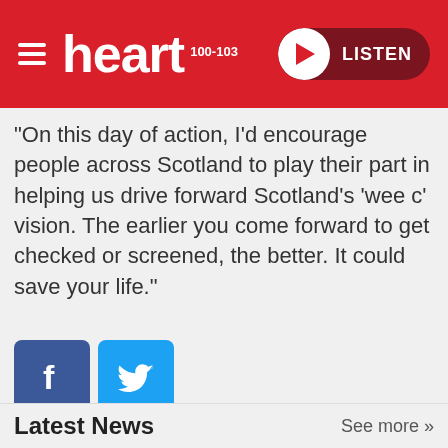[Figure (logo): Heart FM radio logo with hamburger menu and LISTEN button on red header background]
"On this day of action, I'd encourage people across Scotland to play their part in helping us drive forward Scotland's 'wee c' vision. The earlier you come forward to get checked or screened, the better. It could save your life."
[Figure (other): Facebook and Twitter social sharing icon buttons]
Latest News
See more »